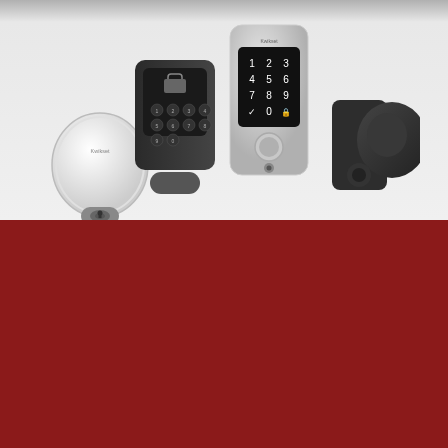[Figure (photo): Product photo showing multiple Kwikset smart lock products: a round white Halo Touch lock, a black keypd deadbolt, a silver/satin nickel touchscreen smart lock with numeric keypad, and a matte black lever/knob lock, arranged together on a light grey background.]
This website uses cookies to enhance user experience and to analyze performance and traffic on our website. We also share information about your use of our site with our social media, advertising and analytics partners.  Cookie Policy
Cookie Settings
Accept Cookies